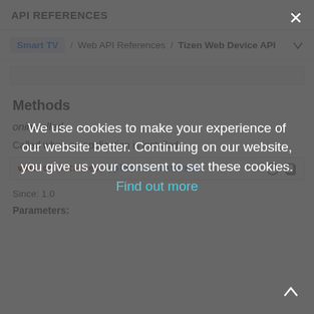API REFERENCES
Smart TV / Web API References / Tizen Web Device API
Methods
oninstalled
Called when an application is installed.
void oninstalled(ApplicationInformat)
Since: 1.0
Parameters:
We use cookies to make your experience of our website better. Continuing on our website, you give us your consent to set these cookies. Find out more